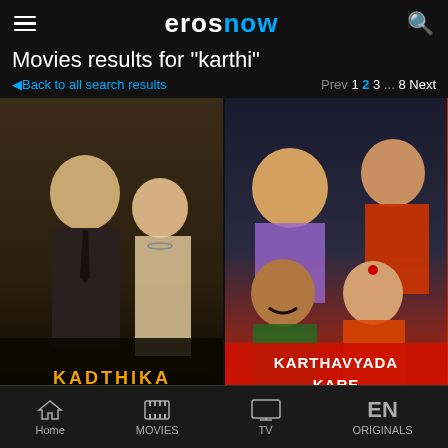erosnow
Movies results for "karthi"
Back to all search results   Prev 1 2 3 … 8 Next
[Figure (photo): Black and white movie poster for 'KADTHIKA' showing a man in a suit and a woman in a saree]
[Figure (photo): Colorful movie poster for 'KARTHAVYADA KARE' showing four actors]
Home  MOVIES  TV  ORIGINALS